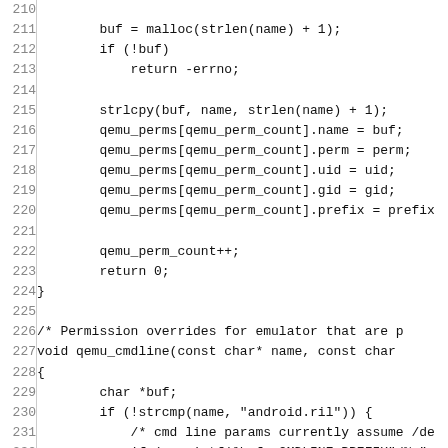Code listing lines 210-239, showing C source code for buffer allocation, qemu_perms assignments, and qemu_cmdline function